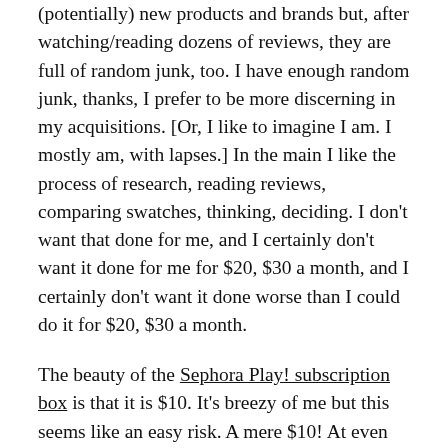(potentially) new products and brands but, after watching/reading dozens of reviews, they are full of random junk, too. I have enough random junk, thanks, I prefer to be more discerning in my acquisitions. [Or, I like to imagine I am. I mostly am, with lapses.] In the main I like the process of research, reading reviews, comparing swatches, thinking, deciding. I don't want that done for me, and I certainly don't want it done for me for $20, $30 a month, and I certainly don't want it done worse than I could do it for $20, $30 a month.
The beauty of the Sephora Play! subscription box is that it is $10. It's breezy of me but this seems like an easy risk. A mere $10! At even $15 I might begin to squint and doubt, but $10, it might as well be $5 in my mind. Marketing geniuses. Earlier today I was at a shop selling cookies for 50¢. Who even sees that symbol anymore?! Damn straight I bought a cookie.